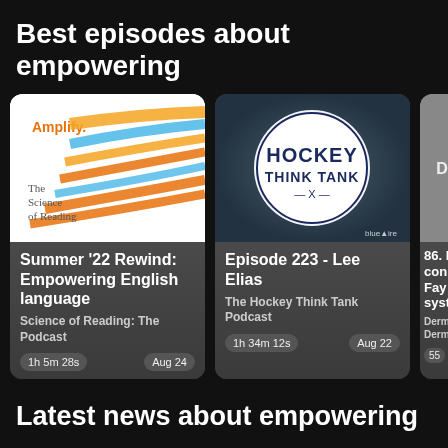Best episodes about empowering
[Figure (screenshot): Podcast card: Science of Reading The Podcast - Summer '22 Rewind: Empowering English language, 1h 5m 28s, Aug 24]
[Figure (screenshot): Podcast card: The Hockey Think Tank Podcast - Episode 223 - Lee Elias, 1h 34m 12s, Aug 22]
[Figure (screenshot): Partial podcast card (cropped) with time 55s]
Latest news about empowering